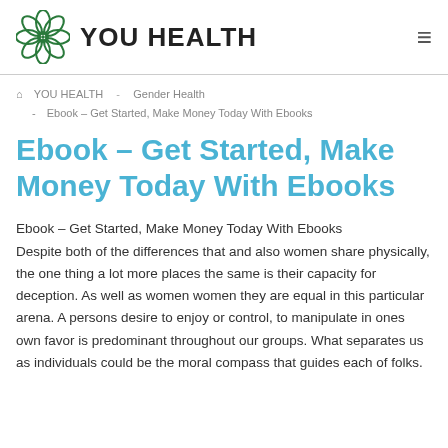YOU HEALTH
YOU HEALTH - Gender Health - Ebook – Get Started, Make Money Today With Ebooks
Ebook – Get Started, Make Money Today With Ebooks
Ebook – Get Started, Make Money Today With Ebooks
Despite both of the differences that and also women share physically, the one thing a lot more places the same is their capacity for deception. As well as women women they are equal in this particular arena. A persons desire to enjoy or control, to manipulate in ones own favor is predominant throughout our groups. What separates us as individuals could be the moral compass that guides each of folks.